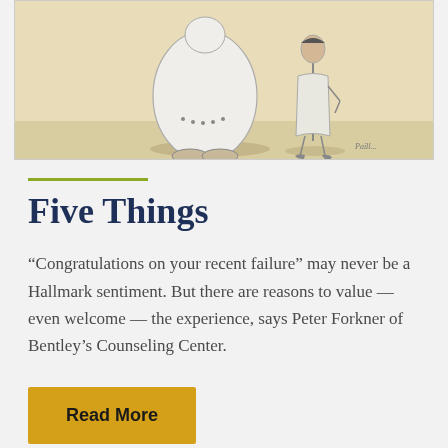[Figure (illustration): A cartoon illustration showing a large round figure (possibly a person in a costume or abstract character) standing next to a slender person in a light coat. The background is beige/tan. There are shadows beneath the figures and a small artist signature visible.]
Five Things
“Congratulations on your recent failure” may never be a Hallmark sentiment. But there are reasons to value — even welcome — the experience, says Peter Forkner of Bentley’s Counseling Center.
Read More